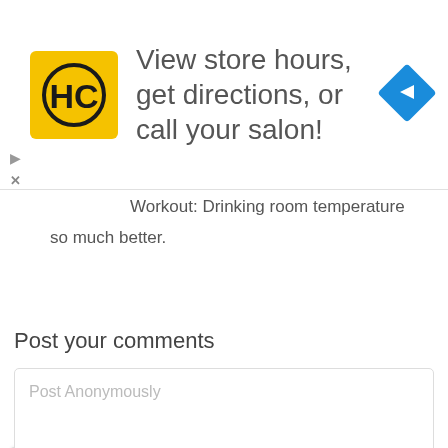[Figure (infographic): Advertisement banner with HC logo (yellow square with HC letters) and text 'View store hours, get directions, or call your salon!' with a blue navigation diamond icon on the right]
Workout: Drinking room temperature water is so much better.
Post your comments
Post Anonymously